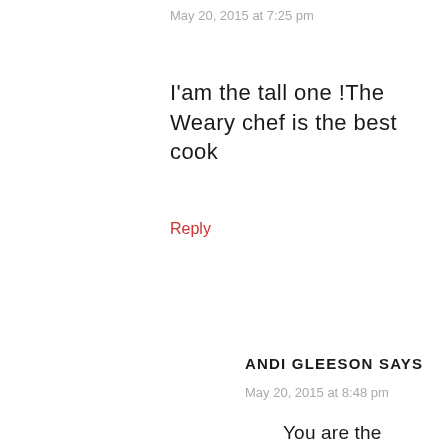May 20, 2015 at 7:25 pm
I'am the tall one !The Weary chef is the best cook
Reply
ANDI GLEESON SAYS
May 20, 2015 at 8:48 pm
You are the sweetest son a mom could have. Thanks for being my #1 fan and a